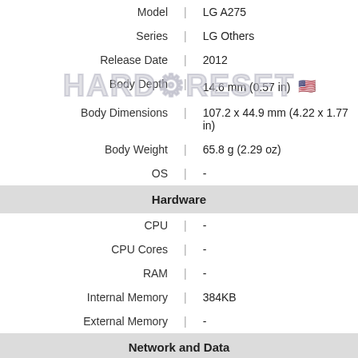| Model | LG A275 |
| Series | LG Others |
| Release Date | 2012 |
| Body Depth | 14.6 mm (0.57 in) 🇺🇸 |
| Body Dimensions | 107.2 x 44.9 mm (4.22 x 1.77 in) |
| Body Weight | 65.8 g (2.29 oz) |
| OS | - |
| Hardware |  |
| CPU | - |
| CPU Cores | - |
| RAM | - |
| Internal Memory | 384KB |
| External Memory | - |
| Network and Data |  |
| SIM | 2 Mini-SIM |
| 2G bands | GSM 850/900/1800/1900 MHz |
| 3G bands | - |
| 4G bands | - |